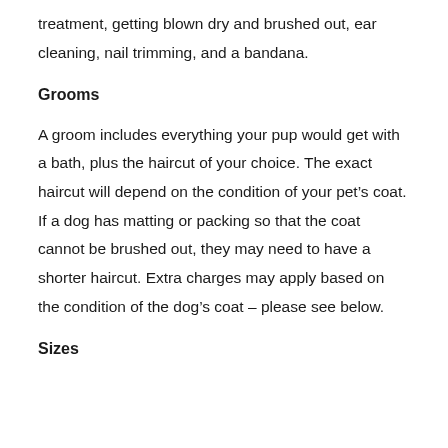treatment, getting blown dry and brushed out, ear cleaning, nail trimming, and a bandana.
Grooms
A groom includes everything your pup would get with a bath, plus the haircut of your choice. The exact haircut will depend on the condition of your pet’s coat. If a dog has matting or packing so that the coat cannot be brushed out, they may need to have a shorter haircut. Extra charges may apply based on the condition of the dog’s coat – please see below.
Sizes